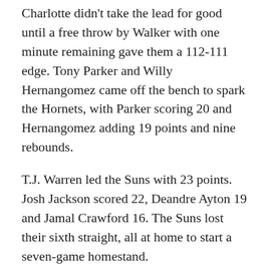Charlotte didn't take the lead for good until a free throw by Walker with one minute remaining gave them a 112-111 edge. Tony Parker and Willy Hernangomez came off the bench to spark the Hornets, with Parker scoring 20 and Hernangomez adding 19 points and nine rebounds.
T.J. Warren led the Suns with 23 points. Josh Jackson scored 22, Deandre Ayton 19 and Jamal Crawford 16. The Suns lost their sixth straight, all at home to start a seven-game homestand.
Hawks 106, Heat 82
Veteran point guard Jeremy Lin came off the bench to score 11 of his 15 points during a third-